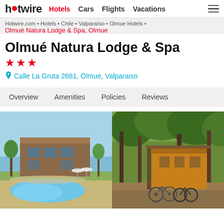hotwire Hotels Cars Flights Vacations
Hotwire.com • Hotels • Chile • Valparaíso • Olmue Hotels • Olmué Natura Lodge & Spa, Olmue
Olmué Natura Lodge & Spa
★★★
Calle La Gruta 2681, Olmue, Valparaiso
Overview  Amenities  Policies  Reviews
[Figure (photo): Outdoor swimming pool with lounge chairs and umbrellas, brown hotel building and trees in background under blue sky]
[Figure (photo): Wooded garden area with bicycles parked near a wooden cabin/lodge building amid trees]